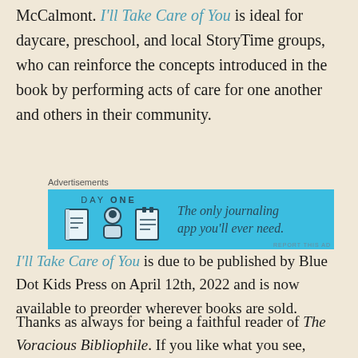McCalmont. I'll Take Care of You is ideal for daycare, preschool, and local StoryTime groups, who can reinforce the concepts introduced in the book by performing acts of care for one another and others in their community.
[Figure (other): Advertisement banner for DayOne journaling app with blue background, icons of a journal, person, and notepad, and text 'The only journaling app you'll ever need.']
I'll Take Care of You is due to be published by Blue Dot Kids Press on April 12th, 2022 and is now available to preorder wherever books are sold.
Thanks as always for being a faithful reader of The Voracious Bibliophile. If you like what you see, please like, comment, follow, and subscribe to my email